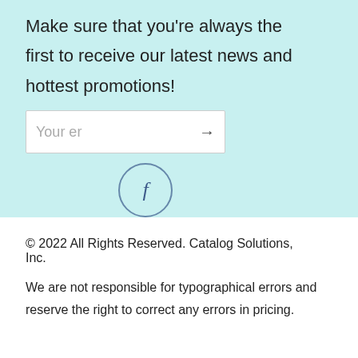Make sure that you're always the first to receive our latest news and hottest promotions!
[Figure (screenshot): Email input field with placeholder text 'Your er' and a right arrow button]
[Figure (illustration): Facebook icon: letter f inside a circle outline]
© 2022 All Rights Reserved. Catalog Solutions, Inc.
We are not responsible for typographical errors and reserve the right to correct any errors in pricing.